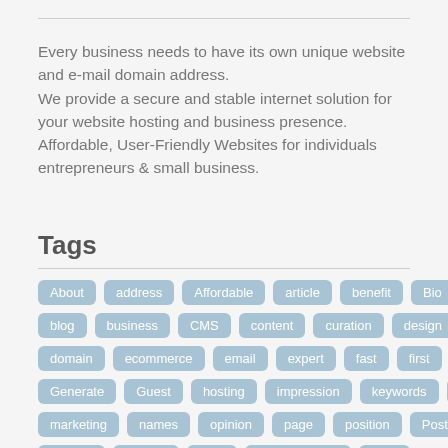Every business needs to have its own unique website and e-mail domain address.
We provide a secure and stable internet solution for your website hosting and business presence.
Affordable, User-Friendly Websites for individuals entrepreneurs & small business.
Tags
About
address
Affordable
article
benefit
Bio
blog
business
CMS
content
curation
design
domain
ecommerce
email
expert
fast
first
Generate
Guest
hosting
impression
keywords
list
marketing
names
opinion
page
position
Posts
ranking
reliable
RSS
search engine
SEO